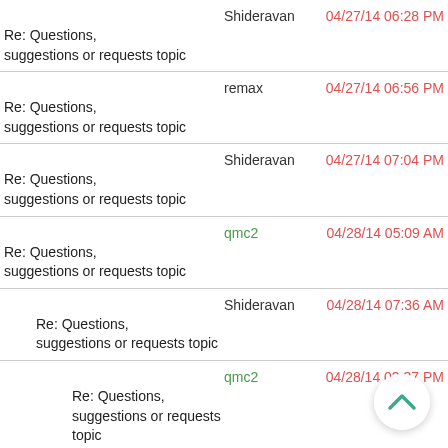Re: Questions, suggestions or requests topic | Shideravan | 04/27/14 06:28 PM
Re: Questions, suggestions or requests topic | remax | 04/27/14 06:56 PM
Re: Questions, suggestions or requests topic | Shideravan | 04/27/14 07:04 PM
Re: Questions, suggestions or requests topic | qmc2 | 04/28/14 05:09 AM
Re: Questions, suggestions or requests topic | Shideravan | 04/28/14 07:36 AM
Re: Questions, suggestions or requests topic | qmc2 | 04/28/14 03:37 PM
Re: Questions, suggestions or requests topic | oddi | 04/28/14 07:28 AM
Re: Questions, suggestions or requests topic | Shideravan | 04/28/14 07:39 AM
Re: Questions, suggestions or requests topic | Shideravan | 04/28/14 07:47 AM
Re: Questions, suggestions or requests topic | oddi | 04/28/14 08:42 AM